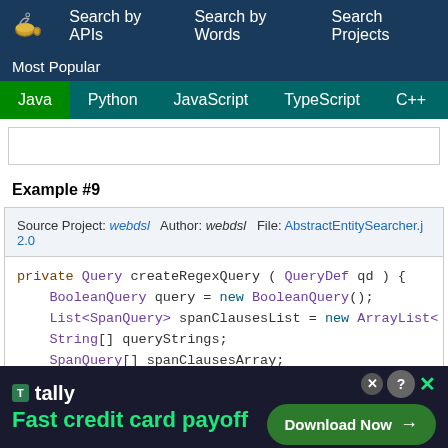Search by APIs  Search by Words  Search Projects  Most Popular  Java  Python  JavaScript  TypeScript  C++  Scala
Example #9
Source Project: webdsl  Author: webdsl  File: AbstractEntitySearcher.j  2.0
private Query createRegexQuery ( QueryDef qd ) {
    BooleanQuery query = new BooleanQuery();
    List<SpanQuery> spanClausesList = new ArrayList<
    String[] queryStrings;
    SpanQuery[] spanClausesArray;
    RegexQuery regexQuery;
    for ( String field : fields ) {
[Figure (screenshot): Tally advertisement banner: Fast credit card payoff with Download Now button]